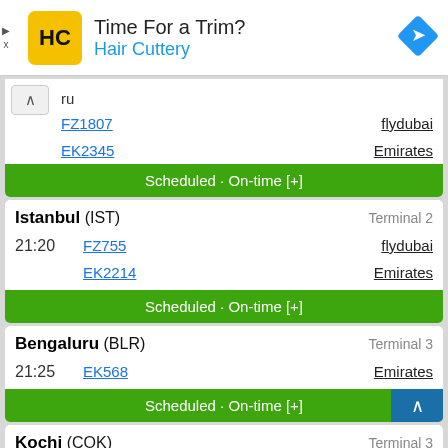[Figure (infographic): Advertisement banner for Hair Cuttery with logo, tagline 'Time For a Trim?', and navigation arrow icon]
10 — FZ1807 — flydubai
EK2345 — Emirates
Scheduled · On-time [+]
Istanbul (IST) — Terminal 2 — 21:20 — FZ755 — flydubai — EK2214 — Emirates
Scheduled · On-time [+]
Bengaluru (BLR) — Terminal 3 — 21:25 — EK568 — Emirates
Scheduled · On-time [+]
Kochi (COK) — Terminal 3